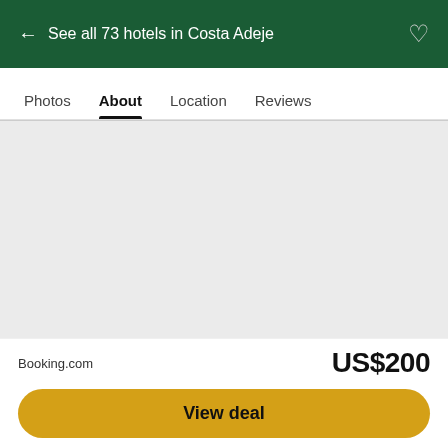← See all 73 hotels in Costa Adeje
Photos  About  Location  Reviews
[Figure (other): Gray placeholder content area for hotel About section]
Booking.com
US$200
View deal